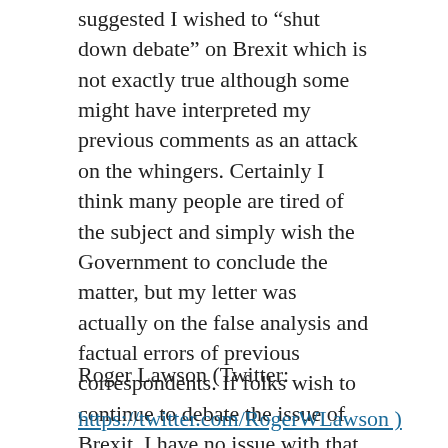suggested I wished to “shut down debate” on Brexit which is not exactly true although some might have interpreted my previous comments as an attack on the whingers. Certainly I think many people are tired of the subject and simply wish the Government to conclude the matter, but my letter was actually on the false analysis and factual errors of previous correspondents. If folks wish to continue to debate the issue of Brexit, I have no issue with that, but to fill the pages of the FT with it when I pay for the publication to cover real news, is somewhat annoying.
Roger Lawson (Twitter:
https://twitter.com/RogerWLawson )